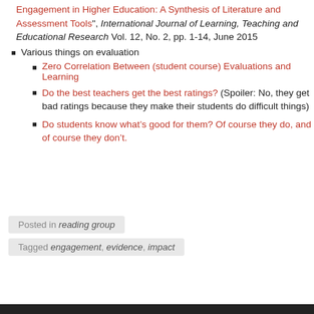Engagement in Higher Education: A Synthesis of Literature and Assessment Tools", International Journal of Learning, Teaching and Educational Research Vol. 12, No. 2, pp. 1-14, June 2015
Various things on evaluation
Zero Correlation Between (student course) Evaluations and Learning
Do the best teachers get the best ratings? (Spoiler: No, they get bad ratings because they make their students do difficult things)
Do students know what’s good for them? Of course they do, and of course they don’t.
Posted in reading group
Tagged engagement, evidence, impact